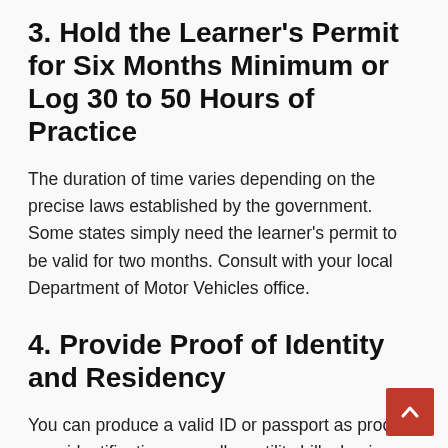3. Hold the Learner's Permit for Six Months Minimum or Log 30 to 50 Hours of Practice
The duration of time varies depending on the precise laws established by the government. Some states simply need the learner's permit to be valid for two months. Consult with your local Department of Motor Vehicles office.
4. Provide Proof of Identity and Residency
You can produce a valid ID or passport as proof of your identification, as well as utility bills, business permits, or the location of your bank account, as evidence of your